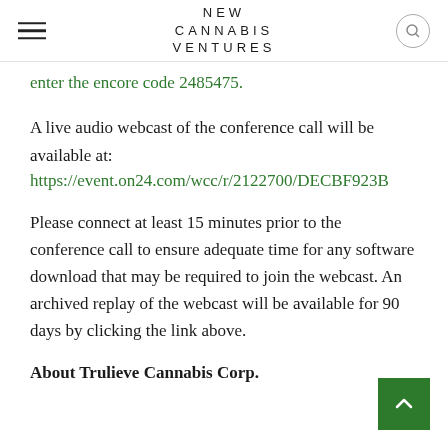NEW CANNABIS VENTURES
enter the encore code 2485475.
A live audio webcast of the conference call will be available at:
https://event.on24.com/wcc/r/2122700/DECBF923B
Please connect at least 15 minutes prior to the conference call to ensure adequate time for any software download that may be required to join the webcast. An archived replay of the webcast will be available for 90 days by clicking the link above.
About Trulieve Cannabis Corp.